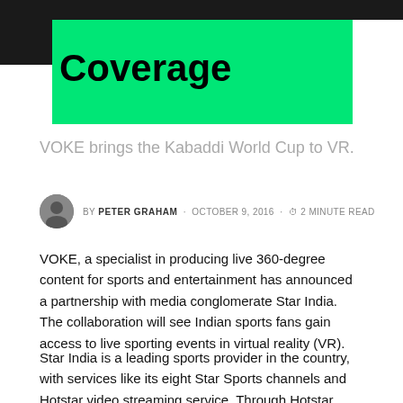Coverage
VOKE brings the Kabaddi World Cup to VR.
BY PETER GRAHAM · OCTOBER 9, 2016 · 2 MINUTE READ
VOKE, a specialist in producing live 360-degree content for sports and entertainment has announced a partnership with media conglomerate Star India. The collaboration will see Indian sports fans gain access to live sporting events in virtual reality (VR).
Star India is a leading sports provider in the country, with services like its eight Star Sports channels and Hotstar video streaming service. Through Hotstar, VOKE will allow users to experience various sporting